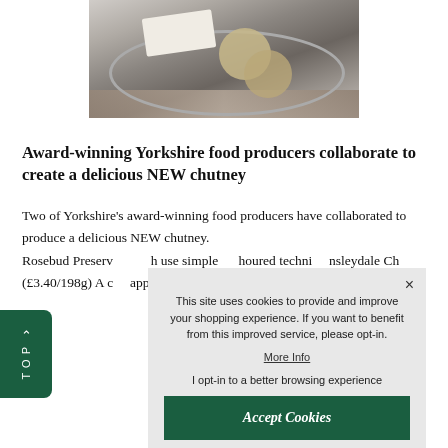[Figure (photo): Photo of white cheese block and round crackers on a plate, with a cloth napkin on a wooden surface]
Award-winning Yorkshire food producers collaborate to create a delicious NEW chutney
Two of Yorkshire's award-winning food producers have collaborated to produce a delicious NEW chutney. Rosebud Preserv… h use simple … houred techni… nsleydale Ch… (£3.40/198g) A c… apples, plump su… Yorkshire Wensle…
This site uses cookies to provide and improve your shopping experience. If you want to benefit from this improved service, please opt-in.
More Info
I opt-in to a better browsing experience
Accept Cookies